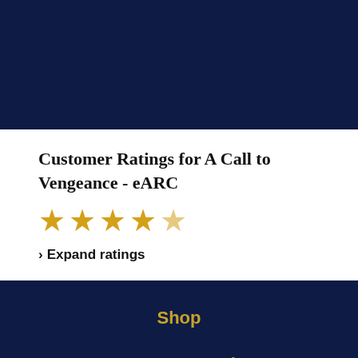Customer Ratings for A Call to Vengeance - eARC
[Figure (other): Five-star rating display showing approximately 4.5 out of 5 stars in gold color]
› Expand ratings
Shop
Baen Community
About Baen